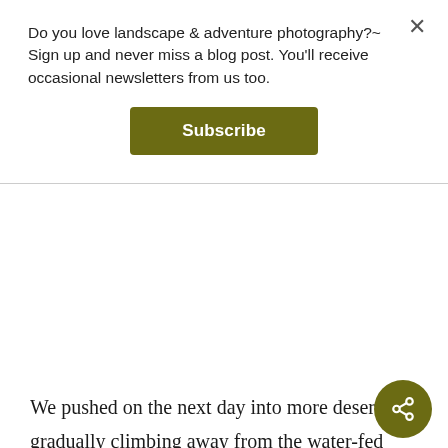Do you love landscape & adventure photography?~ Sign up and never miss a blog post. You'll receive occasional newsletters from us too.
Subscribe
We pushed on the next day into more desert, gradually climbing away from the water-fed lowlands. Only the Jacumba Mountains separated us from San Diego, but rather than follow the interstate directly west we turned north, passing through Ocotillo to join the much quieter Imperial Highway and the Great Southern Overland Stage Route. On these roads, squeezed between desert ranges, we saw